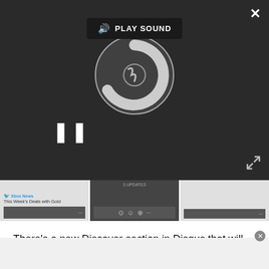[Figure (screenshot): Video player overlay with dark background, PLAY SOUND button, circular loading spinner, pause button, close X button, and expand arrows button]
[Figure (screenshot): Thumbnail strip showing three video thumbnails including 'This Week's Deals with Gold' and other videos with playback controls]
There’s a new Discover section in Disqus that will help connect you to interesting content across different categories like business, culture, news, sports and more. Hop into any category to discover and find trending articles across the web.
Just a quick heads up for Disqus fans. The current Windows Phone 8.0 app will no longer be available, so